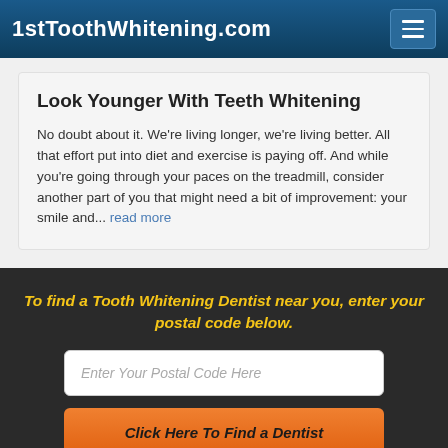1stToothWhitening.com
Look Younger With Teeth Whitening
No doubt about it. We're living longer, we're living better. All that effort put into diet and exercise is paying off. And while you're going through your paces on the treadmill, consider another part of you that might need a bit of improvement: your smile and... read more
To find a Tooth Whitening Dentist near you, enter your postal code below.
Enter Your Postal Code Here
Click Here To Find a Dentist
© 2022 Internet Dental Alliance, Inc. All Rights Reserved